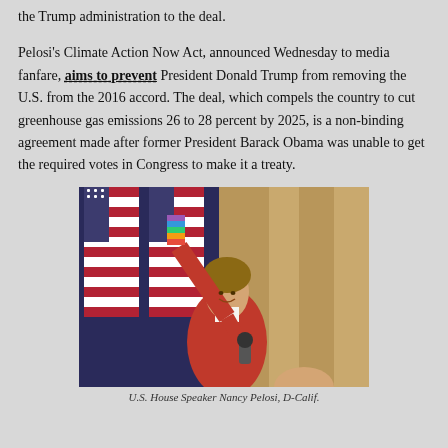the Trump administration to the deal.
Pelosi's Climate Action Now Act, announced Wednesday to media fanfare, aims to prevent President Donald Trump from removing the U.S. from the 2016 accord. The deal, which compels the country to cut greenhouse gas emissions 26 to 28 percent by 2025, is a non-binding agreement made after former President Barack Obama was unable to get the required votes in Congress to make it a treaty.
[Figure (photo): U.S. House Speaker Nancy Pelosi, D-Calif., holding a rainbow-colored item aloft with one hand and a microphone in the other, wearing a red jacket, with American flags in the background.]
U.S. House Speaker Nancy Pelosi, D-Calif.